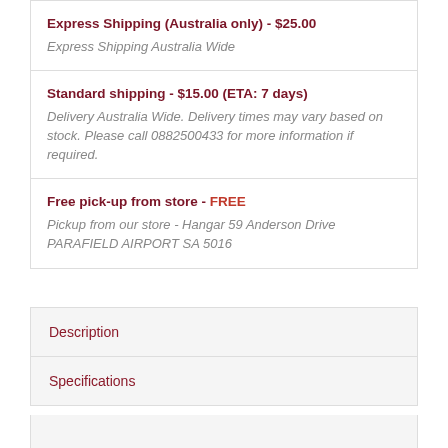Express Shipping (Australia only) - $25.00
Express Shipping Australia Wide
Standard shipping - $15.00 (ETA: 7 days)
Delivery Australia Wide. Delivery times may vary based on stock. Please call 0882500433 for more information if required.
Free pick-up from store - FREE
Pickup from our store - Hangar 59 Anderson Drive PARAFIELD AIRPORT SA 5016
Description
Specifications